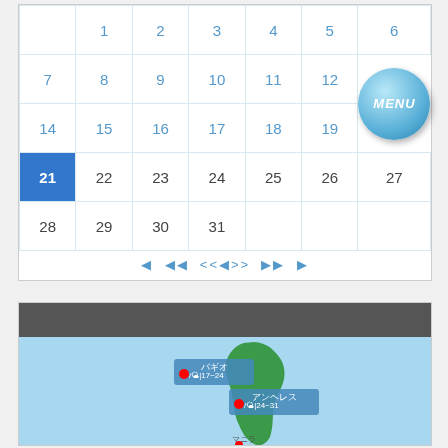|  | 1 | 2 | 3 | 4 | 5 | 6 |
| --- | --- | --- | --- | --- | --- | --- |
| 7 | 8 | 9 | 10 | 11 | 12 | MENU |
| 14 | 15 | 16 | 17 | 18 | 19 |  |
| 21 | 22 | 23 | 24 | 25 | 26 | 27 |
| 28 | 29 | 30 | 31 |  |  |  |
◀ ◀◀ <<◀>> ▶▶ ▶
[Figure (map): Map of Philippines showing weather data: バギオ (Baguio) ●/🌤|17-24, アンヘレス (Angeles) ●/🌤|24-31, マニラ (Manila) visible at bottom]